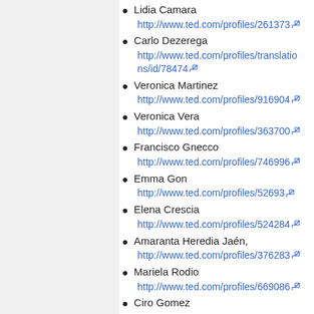Lidia Camara
http://www.ted.com/profiles/261373
Carlo Dezerega
http://www.ted.com/profiles/translations/id/78474
Veronica Martinez
http://www.ted.com/profiles/916904
Veronica Vera
http://www.ted.com/profiles/363700
Francisco Gnecco
http://www.ted.com/profiles/746996
Emma Gon
http://www.ted.com/profiles/52693
Elena Crescia
http://www.ted.com/profiles/524284
Amaranta Heredia Jaén,
http://www.ted.com/profiles/376283
Mariela Rodio
http://www.ted.com/profiles/669086
Ciro Gomez